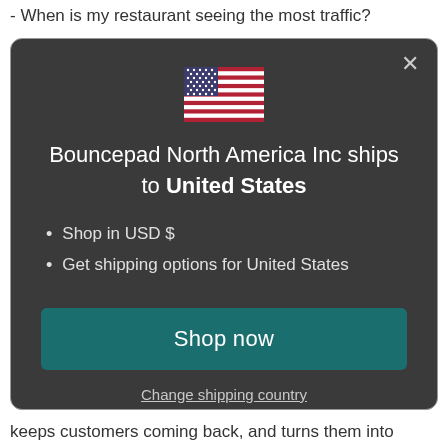- When is my restaurant seeing the most traffic?
[Figure (screenshot): Modal dialog with US flag, title 'Bouncepad North America Inc ships to United States', bullet points for USD and shipping, Shop now button, and Change shipping country link]
keeps customers coming back, and turns them into